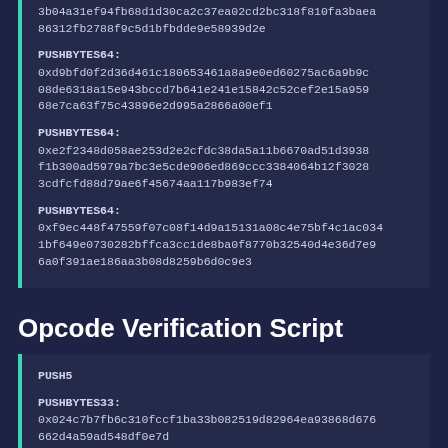3b04a31ef94fb68d1d30ca2c37ea02cd2bc318f810fa3baea86312fb2788f9c5d1bfbdde9e58939d2e
PUSHBYTES64:
0xd9bfd0f2d36d461c180653461a8a9e0ed60275ac6a9b9c08de6318a15e943bccd7b641e241e15842c52cef2e15a95968e7ca63f75c43896e2d995a2866a00ef1
PUSHBYTES64:
0xe2f2348d058ae253d2e2cfdc38da5a11b6670ad51d3938f1b300ad5979a7bc3e5cde906ed869ccc3384064b12f30283cdfcfd88d79ae6f45674aa117b983ef74
PUSHBYTES64:
0xf9ec448f47559f07c08f14d9a15131a08c4e75bf4c1ac0341bf649e0730282bffca3cc1de8ba0f8770b32540d4e36d7e96a0f391ae186aa3b08d8259b6d0c9e3
Opcode Verification Script
PUSH5
PUSHBYTES33:
0x024c7b7fb6c310fccf1ba33b082519d82964ea93868d676662d4a59ad548df0e7d
PUSHBYTES33: